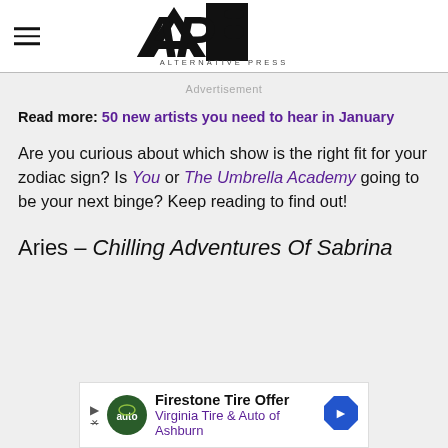[Figure (logo): Alternative Press (AP) logo with large stylized AP letters and 'ALTERNATIVE PRESS' text below]
Advertisement
Read more: 50 new artists you need to hear in January
Are you curious about which show is the right fit for your zodiac sign? Is You or The Umbrella Academy going to be your next binge? Keep reading to find out!
Aries – Chilling Adventures Of Sabrina
[Figure (other): Firestone Tire Offer advertisement banner for Virginia Tire & Auto of Ashburn]